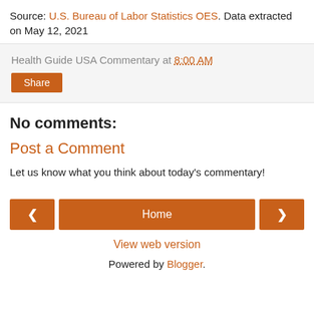Source: U.S. Bureau of Labor Statistics OES. Data extracted on May 12, 2021
Health Guide USA Commentary at 8:00 AM
Share
No comments:
Post a Comment
Let us know what you think about today's commentary!
< Home >
View web version
Powered by Blogger.